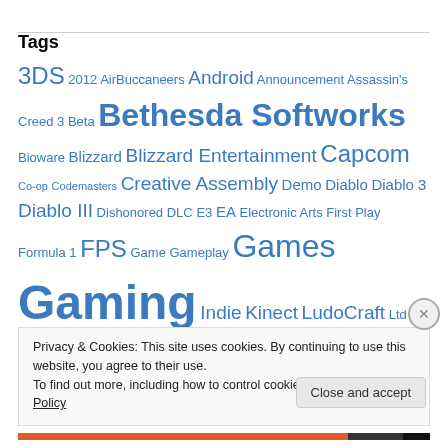Tags
3DS 2012 AirBuccaneers Android Announcement Assassin's Creed 3 Beta Bethesda Softworks Bioware Blizzard Blizzard Entertainment Capcom Co-op Codemasters Creative Assembly Demo Diablo Diablo 3 Diablo III Dishonored DLC E3 EA Electronic Arts First Play Formula 1 FPS Game Gameplay Games Gaming Indie Kinect LudoCraft Ltd Mac Microsoft MMO Mojang Multiplayer Nintendo OSTs PC
Privacy & Cookies: This site uses cookies. By continuing to use this website, you agree to their use. To find out more, including how to control cookies, see here: Cookie Policy